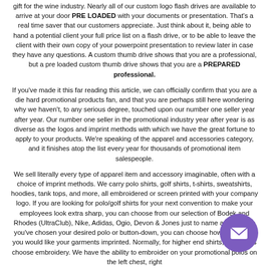gift for the wine industry. Nearly all of our custom logo flash drives are available to arrive at your door PRE LOADED with your documents or presentation. That's a real time saver that our customers appreciate. Just think about it, being able to hand a potential client your full price list on a flash drive, or to be able to leave the client with their own copy of your powerpoint presentation to review later in case they have any questions. A custom thumb drive shows that you are a professional, but a pre loaded custom thumb drive shows that you are a PREPARED professional.
If you've made it this far reading this article, we can officially confirm that you are a die hard promotional products fan, and that you are perhaps still here wondering why we haven't, to any serious degree, touched upon our number one seller year after year. Our number one seller in the promotional industry year after year is as diverse as the logos and imprint methods with which we have the great fortune to apply to your products. We're speaking of the apparel and accessories category, and it finishes atop the list every year for thousands of promotional item salespeople.
We sell literally every type of apparel item and accessory imaginable, often with a choice of imprint methods. We carry polo shirts, golf shirts, t-shirts, sweatshirts, hoodies, tank tops, and more, all embroidered or screen printed with your company logo. If you are looking for polo/golf shirts for your next convention to make your employees look extra sharp, you can choose from our selection of Bodek and Rhodes (UltraClub), Nike, Adidas, Ogio, Devon & Jones just to name a few. Once you've chosen your desired polo or button-down, you can choose how and where you would like your garments imprinted. Normally, for higher end shirts, customers choose embroidery. We have the ability to embroider on your promotional polos on the left chest, right
[Figure (other): Purple circular chat/email button with envelope icon in bottom right corner]